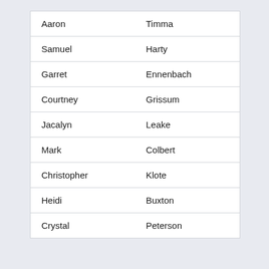| First Name | Last Name |
| --- | --- |
| Aaron | Timma |
| Samuel | Harty |
| Garret | Ennenbach |
| Courtney | Grissum |
| Jacalyn | Leake |
| Mark | Colbert |
| Christopher | Klote |
| Heidi | Buxton |
| Crystal | Peterson |